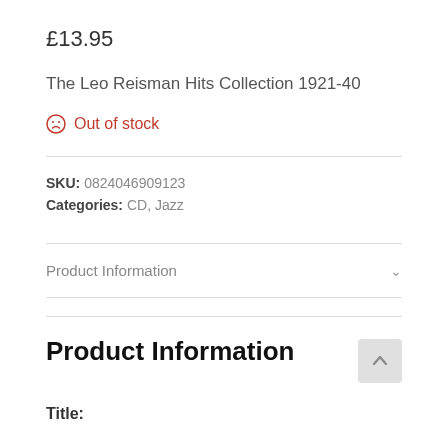£13.95
The Leo Reisman Hits Collection 1921-40
Out of stock
SKU: 0824046909123
Categories: CD, Jazz
Product Information
Product Information
Title: